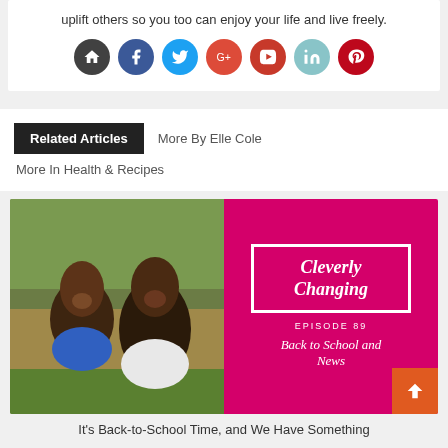uplift others so you too can enjoy your life and live freely.
[Figure (infographic): Row of 7 social media icon circles: home (dark), Facebook (blue), Twitter (light blue), Google+ (red), YouTube (red with play icon), LinkedIn (teal), Pinterest (dark red)]
Related Articles | More By Elle Cole | More In Health & Recipes
[Figure (photo): Two smiling women outdoors on the left half; right half is a magenta/hot-pink graphic for 'Cleverly Changing' podcast, Episode 89, 'Back to School and News'. An orange back-to-top arrow button is visible bottom right.]
It's Back-to-School Time, and We Have Something